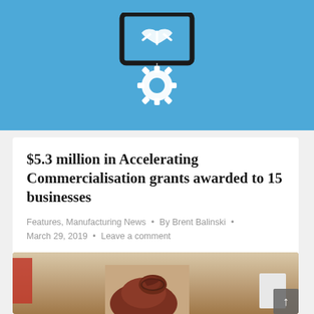[Figure (illustration): Blue banner with white gear/handshake icon representing business partnership and technology]
$5.3 million in Accelerating Commercialisation grants awarded to 15 businesses
Features, Manufacturing News • By Brent Balinski • March 29, 2019 • Leave a comment
Another round of Accelerating Commercialisation grants has been announced, with a total of $5.3 million awarded to 15 businesses.
[Figure (photo): Partial photo of a person with red hair in an updo, visible from behind/side, in an indoor setting with a red sign on the left and a white device on the right]